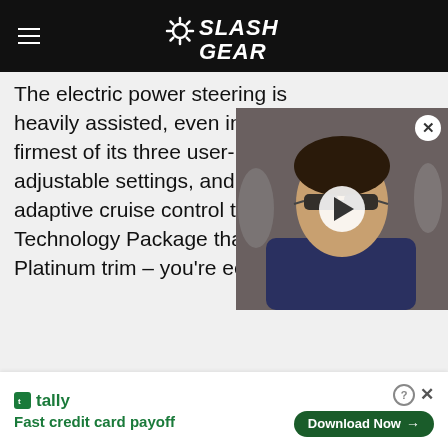SlashGear
The electric power steering is heavily assisted, even in the firmest of its three user-adjustable settings, and with adaptive cruise control tu Technology Package that con Platinum trim – you're eerily d
[Figure (photo): Video thumbnail showing a man wearing sunglasses with a play button overlay and a close (X) button]
[Figure (other): Tally advertisement banner: tally logo, Fast credit card payoff, Download Now button]